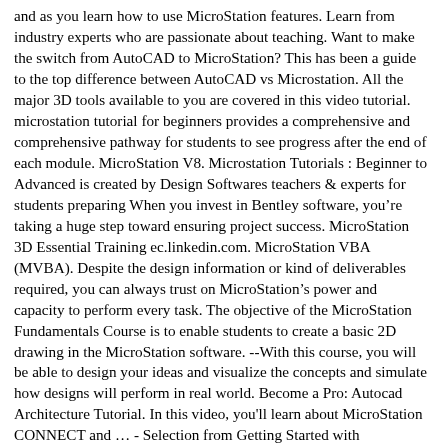and as you learn how to use MicroStation features. Learn from industry experts who are passionate about teaching. Want to make the switch from AutoCAD to MicroStation? This has been a guide to the top difference between AutoCAD vs Microstation. All the major 3D tools available to you are covered in this video tutorial. microstation tutorial for beginners provides a comprehensive and comprehensive pathway for students to see progress after the end of each module. MicroStation V8. Microstation Tutorials : Beginner to Advanced is created by Design Softwares teachers & experts for students preparing When you invest in Bentley software, you're taking a huge step toward ensuring project success. MicroStation 3D Essential Training ec.linkedin.com. MicroStation VBA (MVBA). Despite the design information or kind of deliverables required, you can always trust on MicroStation's power and capacity to perform every task. The objective of the MicroStation Fundamentals Course is to enable students to create a basic 2D drawing in the MicroStation software. --With this course, you will be able to design your ideas and visualize the concepts and simulate how designs will perform in real world. Become a Pro: Autocad Architecture Tutorial. In this video, you'll learn about MicroStation CONNECT and … - Selection from Getting Started with MicroStation 10 CONNECT [Video] This is the best Microstation Tutorials : Beginner to Advanced e-book even including all Design Softwares sample Microstation Tutorials : Beginner to Advanced will help everyone